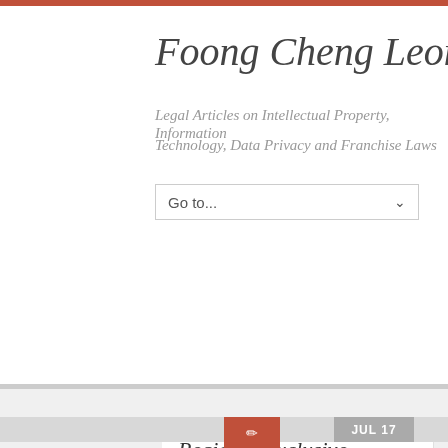Foong Cheng Leong
Legal Articles on Intellectual Property, Information
Technology, Data Privacy and Franchise Laws
Go to...
Regional Exclusive Representation Agreement
JUL 17